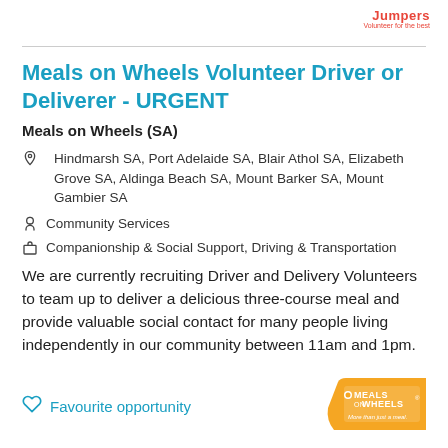Jumpers
Meals on Wheels Volunteer Driver or Deliverer - URGENT
Meals on Wheels (SA)
Hindmarsh SA, Port Adelaide SA, Blair Athol SA, Elizabeth Grove SA, Aldinga Beach SA, Mount Barker SA, Mount Gambier SA
Community Services
Companionship & Social Support, Driving & Transportation
We are currently recruiting Driver and Delivery Volunteers to team up to deliver a delicious three-course meal and provide valuable social contact for many people living independently in our community between 11am and 1pm.
Favourite opportunity